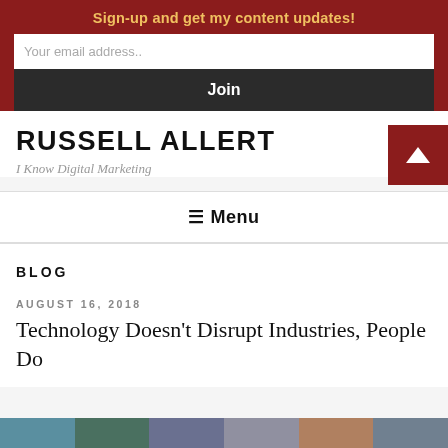Sign-up and get my content updates!
Your email address..
Join
RUSSELL ALLERT
I Know Digital Marketing
≡ Menu
BLOG
AUGUST 16, 2018
Technology Doesn't Disrupt Industries, People Do
[Figure (photo): Colorful image strip at the bottom of the page showing multiple small photos]